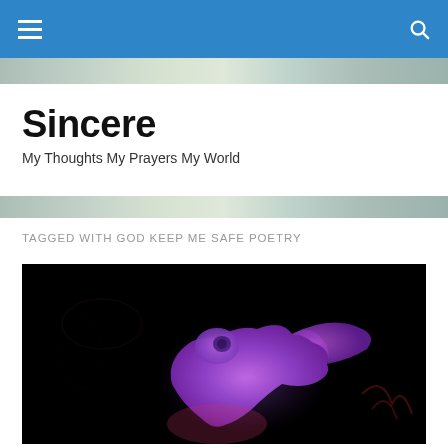Sincere — navigation bar
Sincere
My Thoughts My Prayers My World
TAGGED WITH GOD KEEP ME SAFE POETRY
[Figure (illustration): Dark background illustration of a glowing purple/violet bird or dove figure, appearing to emit light against a black background with subtle reddish marks.]